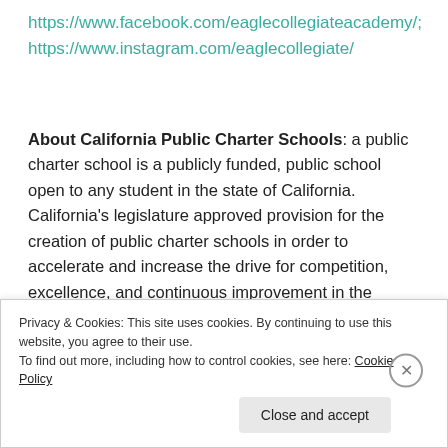https://www.facebook.com/eaglecollegiateacademy/;
https://www.instagram.com/eaglecollegiate/
About California Public Charter Schools: a public charter school is a publicly funded, public school open to any student in the state of California. California's legislature approved provision for the creation of public charter schools in order to accelerate and increase the drive for competition, excellence, and continuous improvement in the state's free, public educational system.
Privacy & Cookies: This site uses cookies. By continuing to use this website, you agree to their use.
To find out more, including how to control cookies, see here: Cookie Policy
Close and accept